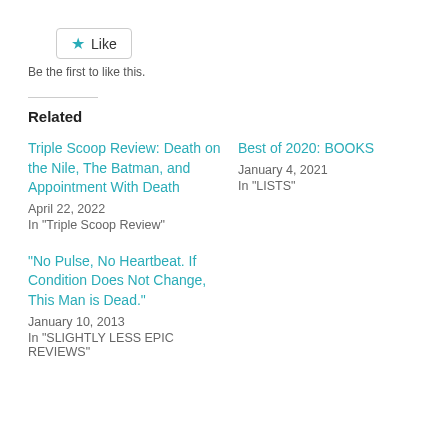Like
Be the first to like this.
Related
Triple Scoop Review: Death on the Nile, The Batman, and Appointment With Death
April 22, 2022
In "Triple Scoop Review"
Best of 2020: BOOKS
January 4, 2021
In "LISTS"
“No Pulse, No Heartbeat. If Condition Does Not Change, This Man is Dead.”
January 10, 2013
In "SLIGHTLY LESS EPIC REVIEWS"